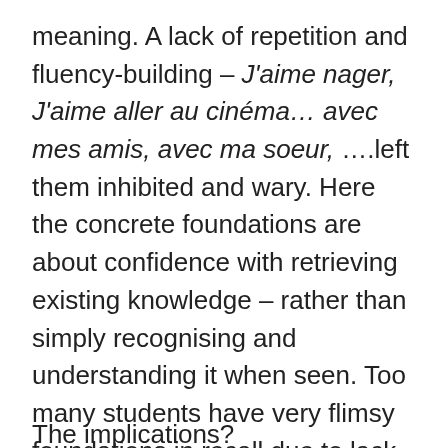meaning. A lack of repetition and fluency-building – J'aime nager, J'aime aller au cinéma… avec mes amis, avec ma soeur, ….left them inhibited and wary. Here the concrete foundations are about confidence with retrieving existing knowledge – rather than simply recognising and understanding it when seen. Too many students have very flimsy foundations in recall due to lack of practice at the level of phrases – the chunks of language we manipulate to construct sentences and share ideas.
The implications?